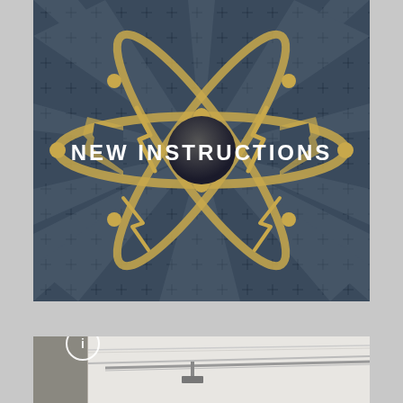[Figure (photo): Dark blue metallic door with atom/star burst decorative emblem in gold/brass, cross-hatch pattern background. Text 'NEW INSTRUCTIONS' overlaid in white bold letters across the center.]
[Figure (photo): Partial photo showing white ceiling and walls of an interior space, with a circular info/navigation icon overlaid at the top left of the image.]